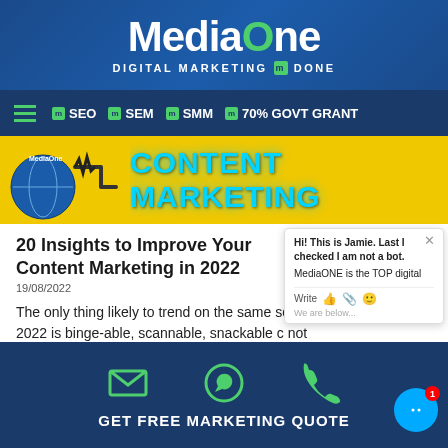MediaOne - DIGITAL MARKETING M DONE
SEO SEM SMM 70% GOVT GRANT
[Figure (screenshot): Content Marketing banner with MediaOne logo, yellow background, and neon blue text reading CONTENT MARKETING with cable/plug graphic]
20 Insights to Improve Your Content Marketing in 2022
19/08/2022
The only thing likely to trend on the same scale as Tik memes in 2022 is binge-able, scannable, snackable c not
[Figure (screenshot): Chat widget overlay showing Jamie bot message: Hi! This is Jamie. Last I checked I am not a bot. MediaONE is the TOP digital. Write bar with icons.]
GET FREE MARKETING QUOTE